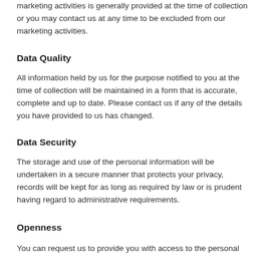marketing activities is generally provided at the time of collection or you may contact us at any time to be excluded from our marketing activities.
Data Quality
All information held by us for the purpose notified to you at the time of collection will be maintained in a form that is accurate, complete and up to date. Please contact us if any of the details you have provided to us has changed.
Data Security
The storage and use of the personal information will be undertaken in a secure manner that protects your privacy, records will be kept for as long as required by law or is prudent having regard to administrative requirements.
Openness
You can request us to provide you with access to the personal